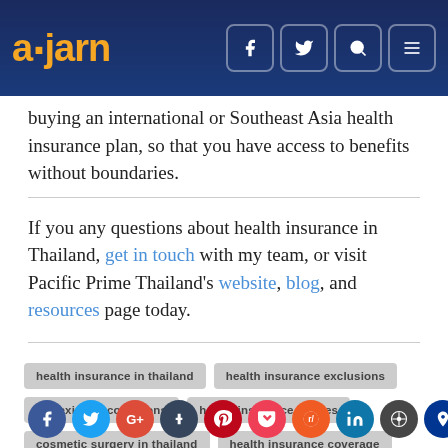ajarn
buying an international or Southeast Asia health insurance plan, so that you have access to benefits without boundaries.
If you any questions about health insurance in Thailand, get in touch with my team, or visit Pacific Prime Thailand's website, blog, and resources page today.
health insurance in thailand
health insurance exclusions
pre-existing conditions
health insurance polices
cosmetic surgery in thailand
health insurance coverage
[Figure (infographic): Social media sharing icons: Facebook, Twitter, Google+, Tumblr, Pinterest, Pocket, Reddit, LinkedIn, WordPress, Pinpoint, Email]